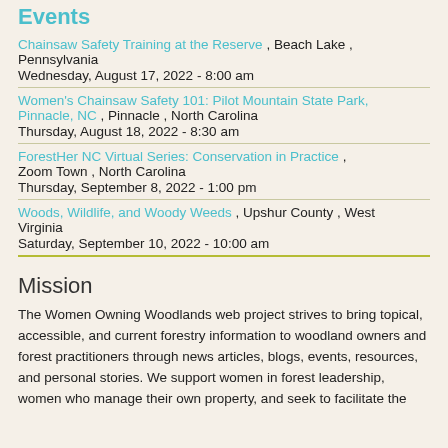Events
Chainsaw Safety Training at the Reserve , Beach Lake , Pennsylvania
Wednesday, August 17, 2022 - 8:00 am
Women's Chainsaw Safety 101: Pilot Mountain State Park, Pinnacle, NC , Pinnacle , North Carolina
Thursday, August 18, 2022 - 8:30 am
ForestHer NC Virtual Series: Conservation in Practice , Zoom Town , North Carolina
Thursday, September 8, 2022 - 1:00 pm
Woods, Wildlife, and Woody Weeds , Upshur County , West Virginia
Saturday, September 10, 2022 - 10:00 am
Mission
The Women Owning Woodlands web project strives to bring topical, accessible, and current forestry information to woodland owners and forest practitioners through news articles, blogs, events, resources, and personal stories. We support women in forest leadership, women who manage their own property, and seek to facilitate the...